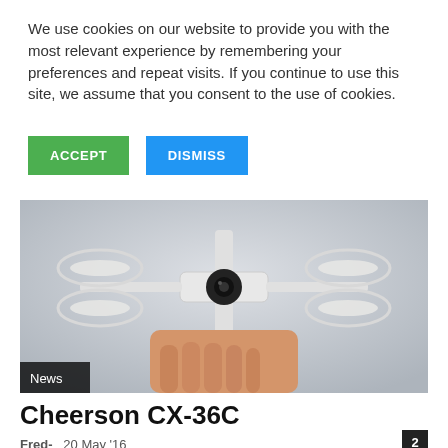We use cookies on our website to provide you with the most relevant experience by remembering your preferences and repeat visits. If you continue to use this site, we assume that you consent to the use of cookies.
ACCEPT
DISMISS
[Figure (photo): A white quadcopter drone with a camera being held in a hand against a grey background. A 'News' badge is overlaid at the bottom left.]
Cheerson CX-36C
Fred-  20 May '16
2